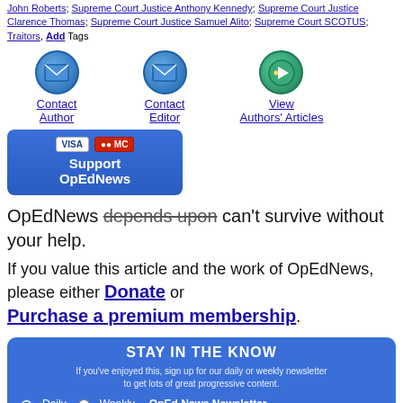John Roberts; Supreme Court Justice Anthony Kennedy; Supreme Court Justice Clarence Thomas; Supreme Court Justice Samuel Alito; Supreme Court SCOTUS; Traitors, Add Tags
[Figure (illustration): Contact Author button with email icon (blue circle with envelope)]
[Figure (illustration): Contact Editor button with email icon (blue circle with envelope)]
[Figure (illustration): View Authors Articles button with arrow icon (green/blue circle with arrow)]
[Figure (illustration): Support OpEdNews button with Visa and Mastercard logos, blue rounded rectangle]
OpEdNews depends upon can't survive without your help.
If you value this article and the work of OpEdNews, please either Donate or Purchase a premium membership.
STAY IN THE KNOW - If you've enjoyed this, sign up for our daily or weekly newsletter to get lots of great progressive content. Daily / Weekly / OpEd News Newsletter. Name field, Email field.